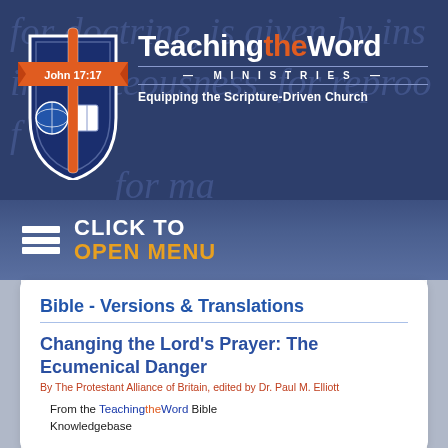[Figure (logo): Teaching the Word Ministries logo: shield with cross, globe, and open Bible, orange cross overlaid, 'John 17:17' on ribbon banner]
TeachingtheWord MINISTRIES - Equipping the Scripture-Driven Church
CLICK TO OPEN MENU
Bible - Versions & Translations
Changing the Lord's Prayer: The Ecumenical Danger
By The Protestant Alliance of Britain, edited by Dr. Paul M. Elliott
From the TeachingtheWord Bible Knowledgebase